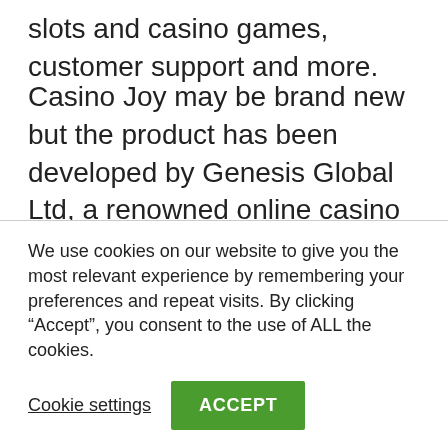slots and casino games, customer support and more.
Casino Joy may be brand new but the product has been developed by Genesis Global Ltd, a renowned online casino operator who have a successful track record and years of expertise under their belt. As a result, Casino Joy already ticks many boxes that make it a popular and well-regarded online casino.
We use cookies on our website to give you the most relevant experience by remembering your preferences and repeat visits. By clicking “Accept”, you consent to the use of ALL the cookies.
Cookie settings
ACCEPT